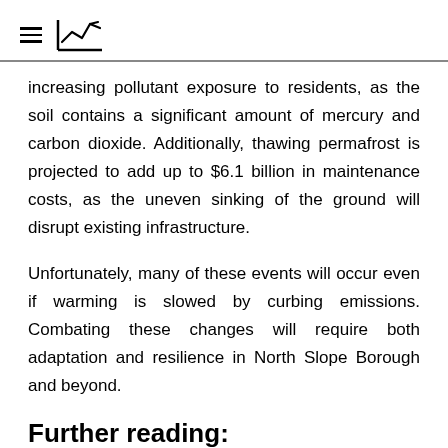≡ [logo/chart icon]
increasing pollutant exposure to residents, as the soil contains a significant amount of mercury and carbon dioxide. Additionally, thawing permafrost is projected to add up to $6.1 billion in maintenance costs, as the uneven sinking of the ground will disrupt existing infrastructure.
Unfortunately, many of these events will occur even if warming is slowed by curbing emissions. Combating these changes will require both adaptation and resilience in North Slope Borough and beyond.
Further reading: